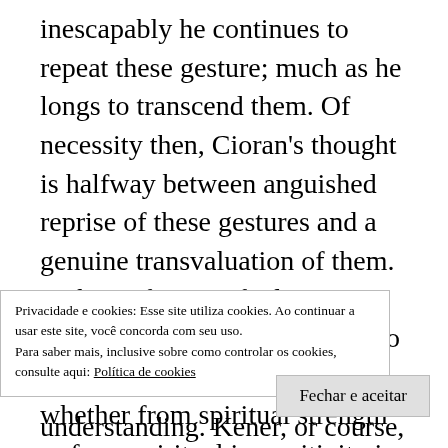inescapably he continues to repeat these gesture; much as he longs to transcend them. Of necessity then, Cioran's thought is halfway between anguished reprise of these gestures and a genuine transvaluation of them. Perhaps, for a unified transvaluation, one must look to those thinkers like Cage who—whether from spiritual strength or from spiritual insensitivity is a secondary issue—are able to jettison far more of the inherited anguish and complexity of this civilization. Cioran's fierce. tensely
Privacidade e cookies: Esse site utiliza cookies. Ao continuar a usar este site, você concorda com seu uso.
Para saber mais, inclusive sobre como controlar os cookies, consulte aqui: Política de cookies
Fechar e aceitar
understanding. Kener, or course, is scarcely